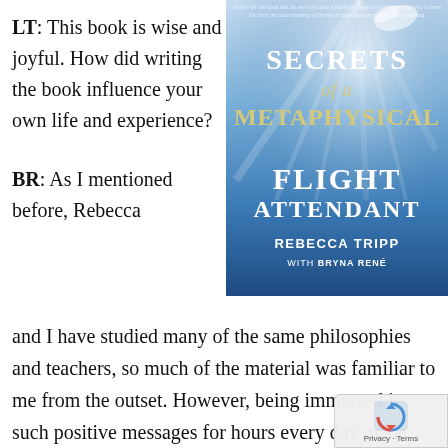LT: This book is wise and joyful. How did writing the book influence your own life and experience?
[Figure (photo): Book cover of 'Secrets of a Metaphysical Flight Attendant' by Rebecca Tripp with Bryna René. Blue sky with light rays background.]
BR: As I mentioned before, Rebecca and I have studied many of the same philosophies and teachers, so much of the material was familiar to me from the outset. However, being immersed in such positive messages for hours every day made me hyper-aware of how I was integrating